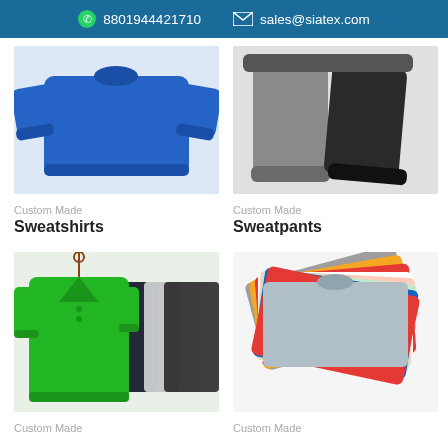8801944421710   sales@siatex.com
[Figure (photo): Blue sweatshirt product photo]
Custom Made
Sweatshirts
[Figure (photo): Gray and black sweatpants product photo]
Custom Made
Sweatpants
[Figure (photo): Multiple colored polo shirts hanging on rack, green polo in front]
Custom Made
[Figure (photo): Stack of colorful t-shirts fanned out showing multiple colors]
Custom Made